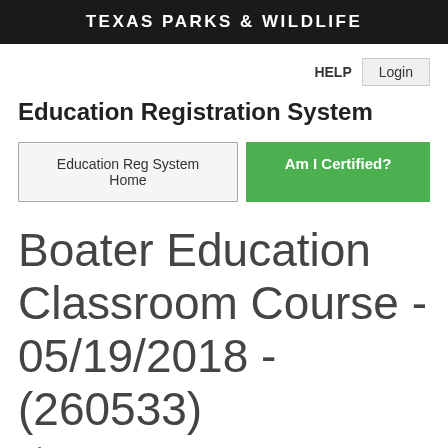TEXAS PARKS & WILDLIFE
HELP  Login
Education Registration System
Education Reg System Home   Am I Certified?
Boater Education Classroom Course - 05/19/2018 - (260533)
Class #260533